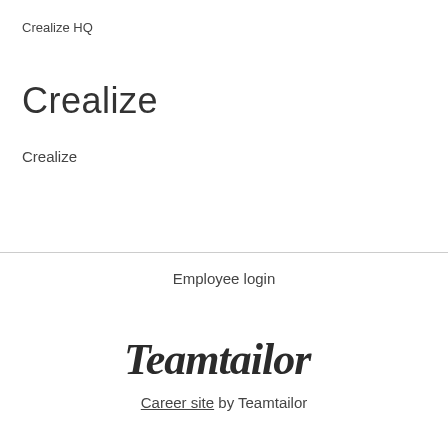Crealize HQ
Crealize
Crealize
Employee login
[Figure (logo): Teamtailor logo in italic script font]
Career site by Teamtailor